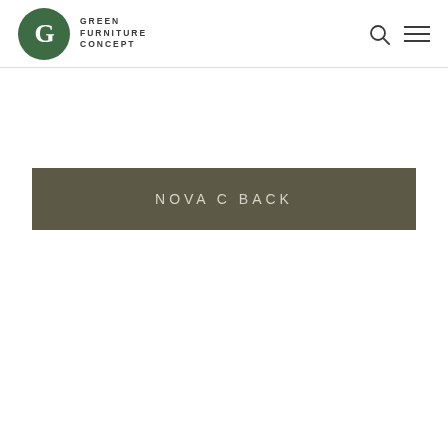Green Furniture Concept
NOVA C BACK